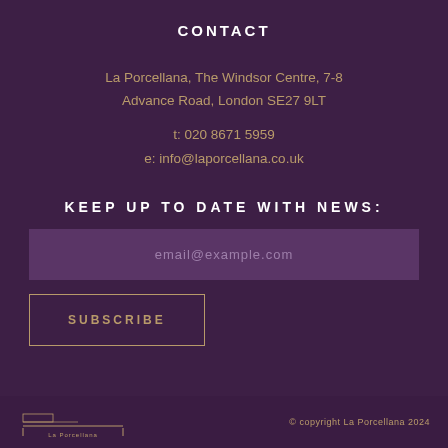CONTACT
La Porcellana, The Windsor Centre, 7-8 Advance Road, London SE27 9LT
t: 020 8671 5959
e: info@laporcellana.co.uk
KEEP UP TO DATE WITH NEWS:
email@example.com
SUBSCRIBE
© copyright La Porcellana 2024